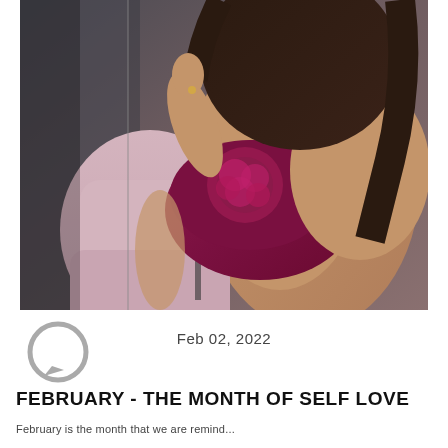[Figure (photo): Woman wearing a dark red/burgundy lace bralette lingerie top, with a light pink silk robe draped off her shoulders, photographed near a window in a moody editorial style.]
[Figure (logo): Gray circular speech bubble / comment icon]
Feb 02, 2022
FEBRUARY - THE MONTH OF SELF LOVE
February is the month that we are remind...